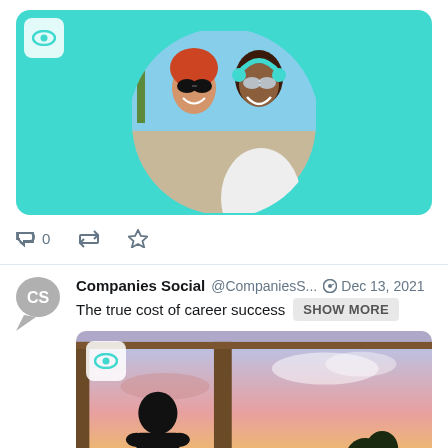[Figure (photo): Top portion of a tweet showing a photo of two laughing women wearing sunglasses against a teal background with circular crop]
0
[Figure (screenshot): Tweet by Companies Social (@CompaniesS...) dated Dec 13, 2021, text: The true cost of career success [SHOW MORE], with a photo of a person looking out a large window at a colorful sunset]
Companies Social @CompaniesS... Dec 13, 2021
The true cost of career success SHOW MORE